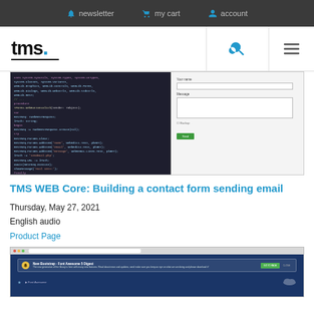newsletter   my cart   account
[Figure (logo): TMS logo with blue dot and underline]
[Figure (screenshot): Screenshot of TMS WEB Core code editor on left and a contact form on the right]
TMS WEB Core: Building a contact form sending email
Thursday, May 27, 2021
English audio
Product Page
[Figure (screenshot): Screenshot of a browser showing TMS WEB Core application with a Font Awesome notification banner]